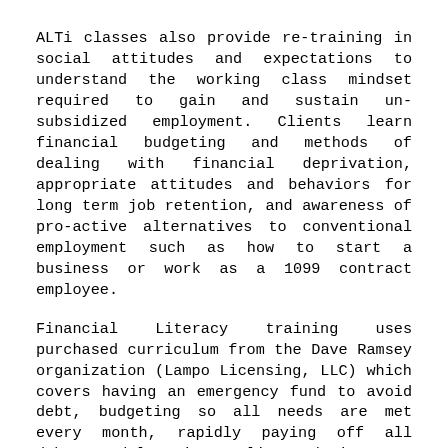ALTi classes also provide re-training in social attitudes and expectations to understand the working class mindset required to gain and sustain un-subsidized employment. Clients learn financial budgeting and methods of dealing with financial deprivation, appropriate attitudes and behaviors for long term job retention, and awareness of pro-active alternatives to conventional employment such as how to start a business or work as a 1099 contract employee.
Financial Literacy training uses purchased curriculum from the Dave Ramsey organization (Lampo Licensing, LLC) which covers having an emergency fund to avoid debt, budgeting so all needs are met every month, rapidly paying off all debts, and learning to live and give as a member of our community.
Computer Job Skills training is in operating small office computers and software. We use BOTH Linux and Microsoft Windows, Libre Office and Microsoft Office (Office 2010 & Office 365) as well as the associated software.